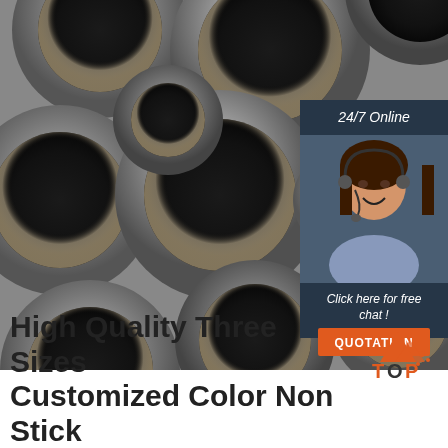[Figure (photo): Stack of large steel/metal pipes viewed from the front ends, showing circular cross-sections in dark grey metallic color. A customer service overlay is on the right side showing a woman with a headset and contact information.]
High Quality Three Sizes Customized Color Non Stick